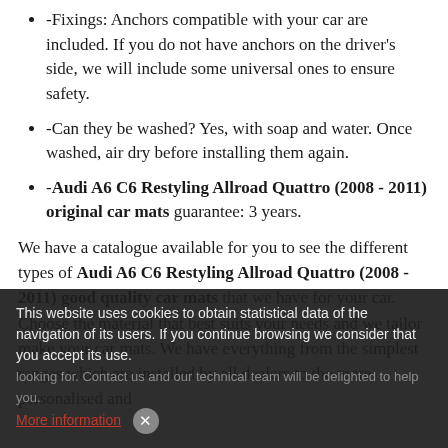-Fixings: Anchors compatible with your car are included. If you do not have anchors on the driver's side, we will include some universal ones to ensure safety.
-Can they be washed? Yes, with soap and water. Once washed, air dry before installing them again.
-Audi A6 C6 Restyling Allroad Quattro (2008 - 2011) original car mats guarantee: 3 years.
We have a catalogue available for you to see the different types of Audi A6 C6 Restyling Allroad Quattro (2008 - 2011) good quality car mats that we have for your car. Choose the material that best suits your needs and we tailor make your car mats. We have everything from the simplest ranges which are installed by all dealers to the more personalised and looking for. Contact us and our technical team will be delighted to help you.
This website uses cookies to obtain statistical data of the navigation of its users. If you continue browsing we consider that you accept its use. More information ×